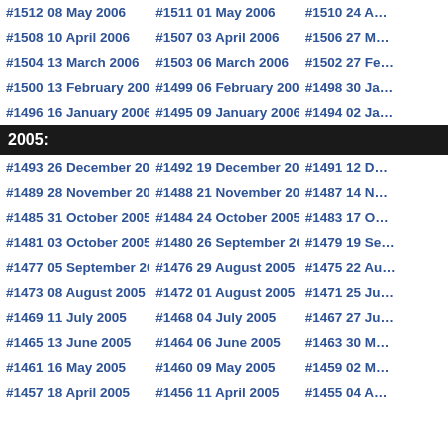#1512 08 May 2006
#1511 01 May 2006
#1510 24 A…
#1508 10 April 2006
#1507 03 April 2006
#1506 27 M…
#1504 13 March 2006
#1503 06 March 2006
#1502 27 Fe…
#1500 13 February 2006
#1499 06 February 2006
#1498 30 Ja…
#1496 16 January 2006
#1495 09 January 2006
#1494 02 Ja…
2005:
#1493 26 December 2005
#1492 19 December 2005
#1491 12 D…
#1489 28 November 2005
#1488 21 November 2005
#1487 14 N…
#1485 31 October 2005
#1484 24 October 2005
#1483 17 O…
#1481 03 October 2005
#1480 26 September 2005
#1479 19 Se…
#1477 05 September 2005
#1476 29 August 2005
#1475 22 Au…
#1473 08 August 2005
#1472 01 August 2005
#1471 25 Ju…
#1469 11 July 2005
#1468 04 July 2005
#1467 27 Ju…
#1465 13 June 2005
#1464 06 June 2005
#1463 30 M…
#1461 16 May 2005
#1460 09 May 2005
#1459 02 M…
#1457 18 April 2005
#1456 11 April 2005
#1455 04 A…